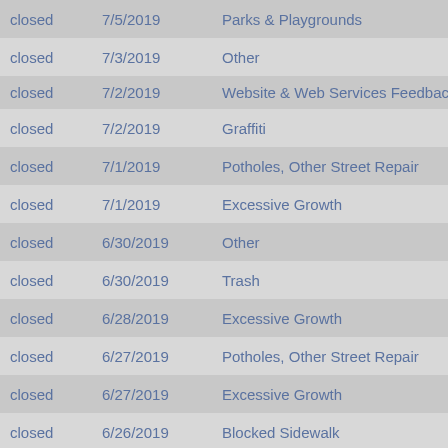| Status | Date | Category |
| --- | --- | --- |
| closed | 7/5/2019 | Parks & Playgrounds |
| closed | 7/3/2019 | Other |
| closed | 7/2/2019 | Website & Web Services Feedback |
| closed | 7/2/2019 | Graffiti |
| closed | 7/1/2019 | Potholes, Other Street Repair |
| closed | 7/1/2019 | Excessive Growth |
| closed | 6/30/2019 | Other |
| closed | 6/30/2019 | Trash |
| closed | 6/28/2019 | Excessive Growth |
| closed | 6/27/2019 | Potholes, Other Street Repair |
| closed | 6/27/2019 | Excessive Growth |
| closed | 6/26/2019 | Blocked Sidewalk |